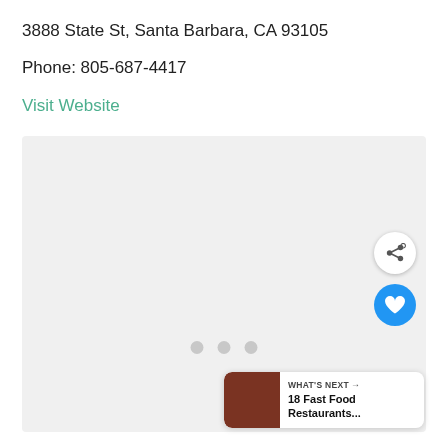3888 State St, Santa Barbara, CA 93105
Phone: 805-687-4417
Visit Website
[Figure (photo): A loading/placeholder image area with three grey dots indicating media loading, with a heart button and share button overlay, and a 'What's Next' panel showing 18 Fast Food Restaurants...]